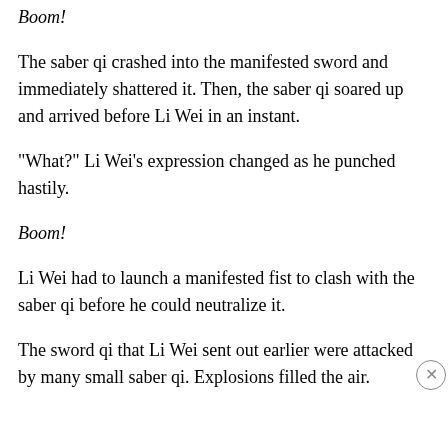Boom!
The saber qi crashed into the manifested sword and immediately shattered it. Then, the saber qi soared up and arrived before Li Wei in an instant.
“What?” Li Wei’s expression changed as he punched hastily.
Boom!
Li Wei had to launch a manifested fist to clash with the saber qi before he could neutralize it.
The sword qi that Li Wei sent out earlier were attacked by many small saber qi. Explosions filled the air.